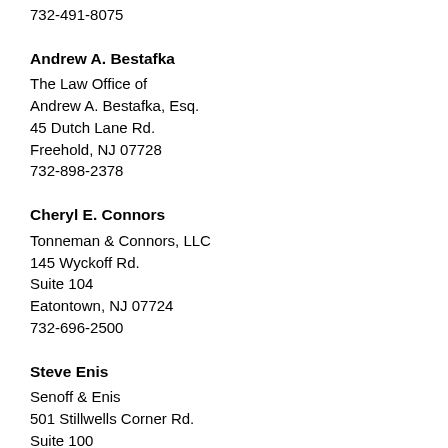732-491-8075
Andrew A. Bestafka
The Law Office of
Andrew A. Bestafka, Esq.
45 Dutch Lane Rd.
Freehold, NJ 07728
732-898-2378
Cheryl E. Connors
Tonneman & Connors, LLC
145 Wyckoff Rd.
Suite 104
Eatontown, NJ 07724
732-696-2500
Steve Enis
Senoff & Enis
501 Stillwells Corner Rd.
Suite 100